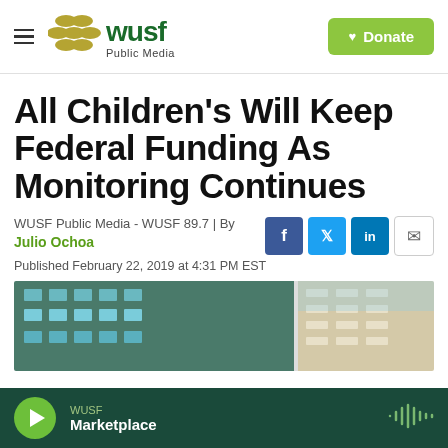WUSF Public Media | Donate
All Children’s Will Keep Federal Funding As Monitoring Continues
WUSF Public Media - WUSF 89.7 | By Julio Ochoa
Published February 22, 2019 at 4:31 PM EST
[Figure (photo): Exterior photo of All Children’s Hospital building]
WUSF Marketplace